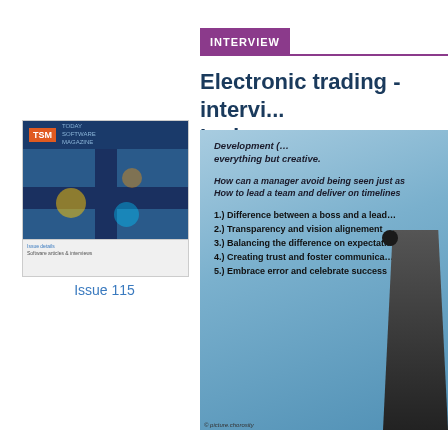INTERVIEW
Electronic trading - intervi... Lederer
[Figure (photo): Magazine cover thumbnail for TSM (Today Software Magazine), Issue 115, showing an abstract road intersection with colored lights on a dark blue background]
Issue 115
[Figure (photo): Photograph of a presenter speaking at a conference in front of a slide showing leadership topics: Development, everything but creative; How can a manager avoid being seen just as...; How to lead a team and deliver on timelines...; 1.) Difference between a boss and a leader; 2.) Transparency and vision alignement; 3.) Balancing the difference on expectati...; 4.) Creating trust and foster communica...; 5.) Embrace error and celebrate success]